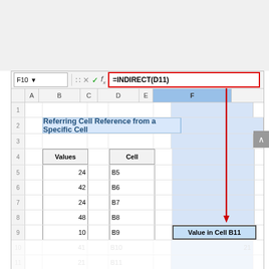[Figure (screenshot): Excel spreadsheet screenshot showing INDIRECT function usage. Cell F10 is selected, formula bar shows =INDIRECT(D11). Spreadsheet has a title 'Referring Cell Reference from a Specific Cell', a Values column (B5:B9 with 24,42,24,48,10) and a Cell column (D5:D9 with B5,B6,B7,B8,B9). A red outlined box labels F9 as 'Value in Cell B11' with a red arrow from formula bar box to F10. Row 10 and 11 show faded reflection values.]